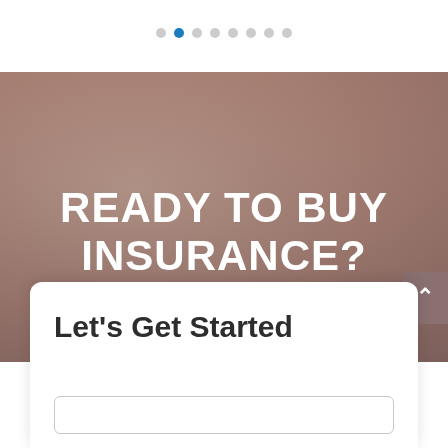[Figure (other): Pagination dots navigation indicator with 8 dots, second dot highlighted in blue]
READY TO BUY INSURANCE?
Let's Get Started